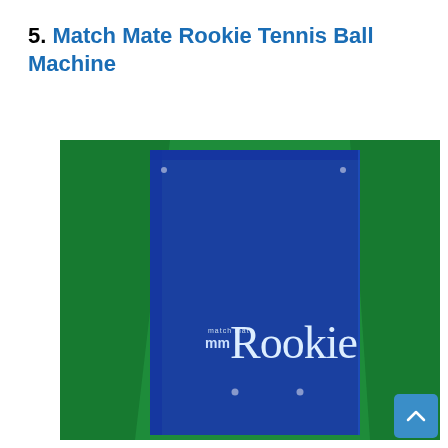5. Match Mate Rookie Tennis Ball Machine
[Figure (photo): A blue Match Mate Rookie tennis ball machine photographed against a green background. The machine is a tall rectangular blue metal box with 'mm Rookie' branding on the front panel.]